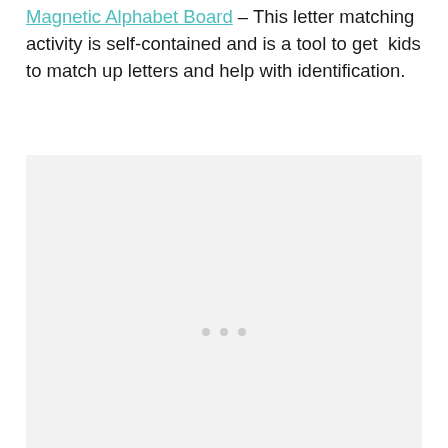Magnetic Alphabet Board – This letter matching activity is self-contained and is a tool to get kids to match up letters and help with identification.
[Figure (photo): A light gray placeholder image box with three small gray dots in the center, representing an embedded image or slideshow of the Magnetic Alphabet Board product.]